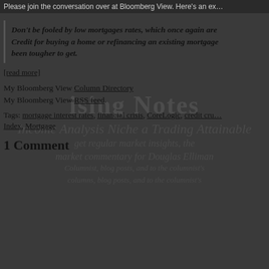Please join the conversation over at Bloomberg View. Here's an ex…
Don't be fooled by low mortgages rates, which once again are… Credit for buying a home or refinancing an existing mortgage… been tougher to get.
[read more]
My Bloomberg View Column Directory
My Bloomberg View RSS feed.
Tags: mortgage interest rates, financial crisis, CoreLogic, credit cru… Index, Mortgage
1 Comment